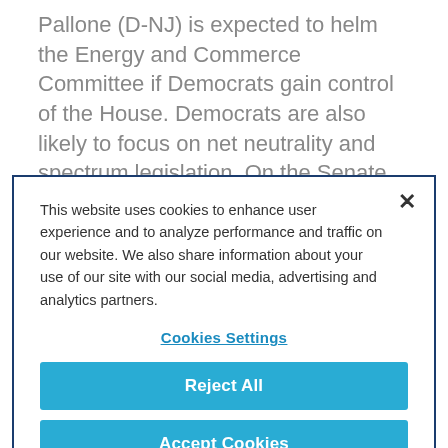Pallone (D-NJ) is expected to helm the Energy and Commerce Committee if Democrats gain control of the House. Democrats are also likely to focus on net neutrality and spectrum legislation. On the Senate side, Sen. Bill Nelson (D-FL) is seen as the most likely Chair of the Senate Commerce Committee while Sen. Roger Wicker (R-MS) is seen as the frontrunner for the Chairmanship if
This website uses cookies to enhance user experience and to analyze performance and traffic on our website. We also share information about your use of our site with our social media, advertising and analytics partners.
Cookies Settings
Reject All
Accept Cookies